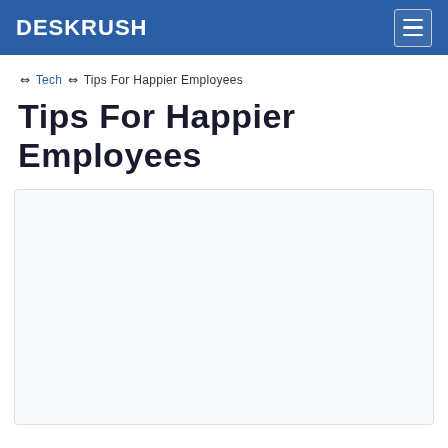DESKRUSH
⇔ Tech ⇔ Tips For Happier Employees
Tips For Happier Employees
[Figure (other): Empty white content box with light border]